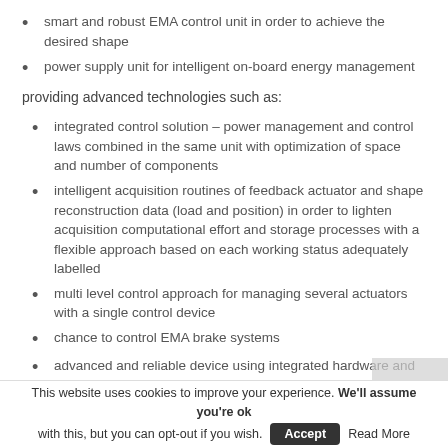smart and robust EMA control unit in order to achieve the desired shape
power supply unit for intelligent on-board energy management
providing advanced technologies such as:
integrated control solution – power management and control laws combined in the same unit with optimization of space and number of components
intelligent acquisition routines of feedback actuator and shape reconstruction data (load and position) in order to lighten acquisition computational effort and storage processes with a flexible approach based on each working status adequately labelled
multi level control approach for managing several actuators with a single control device
chance to control EMA brake systems
advanced and reliable device using integrated hardware and
This website uses cookies to improve your experience. We'll assume you're ok with this, but you can opt-out if you wish. Accept Read More